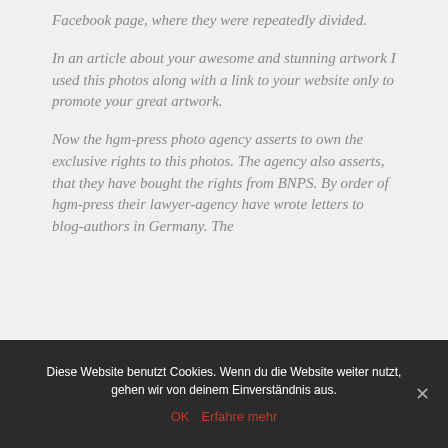Facebook page, where they were repeatedly divided.
In an article about your awesome and stunning artwork I used this photos along with a link to your website only to promote your great artwork.
Now the hgm-press photo agency asserts to own the exclusive rights to this photos. The agency also asserts, that they have bought the rights from BNPS. By order of hgm-press their lawyer-agency have wrote letters to blog-authors in Germany. The
Diese Website benutzt Cookies. Wenn du die Website weiter nutzt, gehen wir von deinem Einverständnis aus.
OK   Erfahre mehr